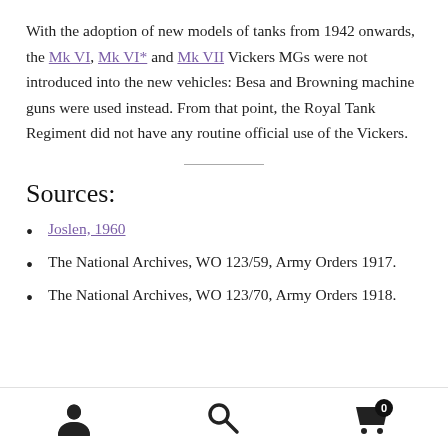With the adoption of new models of tanks from 1942 onwards, the Mk VI, Mk VI* and Mk VII Vickers MGs were not introduced into the new vehicles: Besa and Browning machine guns were used instead. From that point, the Royal Tank Regiment did not have any routine official use of the Vickers.
Sources:
Joslen, 1960
The National Archives, WO 123/59, Army Orders 1917.
The National Archives, WO 123/70, Army Orders 1918.